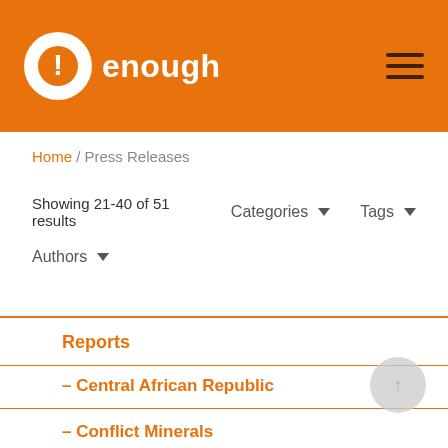enough
Home / Press Releases
Showing 21-40 of 51 results   Categories ▾   Tags ▾
Authors ▾
Reports
– Central African Republic
– Conflict Minerals
– Democratic Republic of Congo